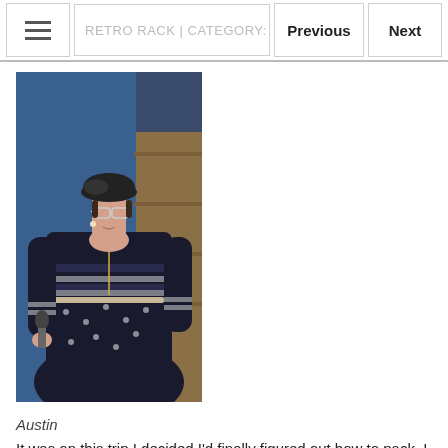RETRO RACK | CATEGORY: RETRO CHIC | (P...
[Figure (photo): Woman in a navy blue polka dot dress with white stripe trim, wearing glasses and a dark beret hat, holding a microphone, speaking at an event. Store shelves visible in background.]
Austin
It was on this trip I decided I'd finally figured out how to pack. I still need a few more items to make my travel skillz complete (the illusive light weight jersey short robe, better hat transport